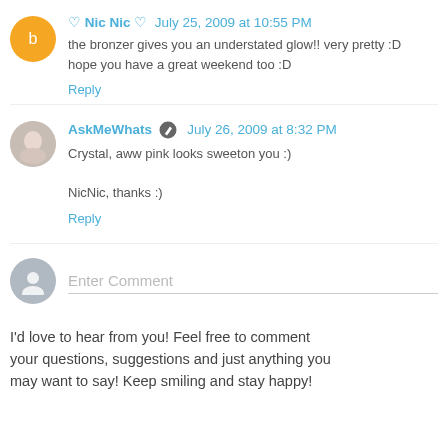♡ Nic Nic ♡  July 25, 2009 at 10:55 PM
the bronzer gives you an understated glow!! very pretty :D hope you have a great weekend too :D
Reply
AskMeWhats  July 26, 2009 at 8:32 PM
Crystal, aww pink looks sweeton you :)

NicNic, thanks :)
Reply
Enter Comment
I'd love to hear from you! Feel free to comment your questions, suggestions and just anything you may want to say! Keep smiling and stay happy!